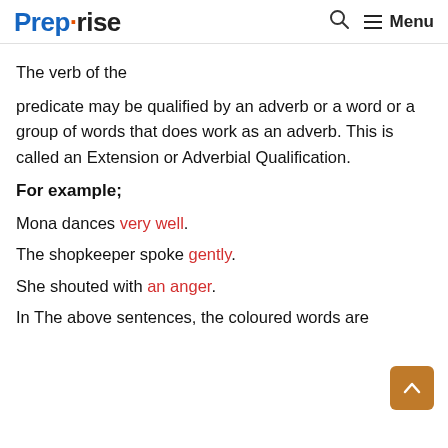Preprise | Menu
The verb of the predicate may be qualified by an adverb or a word or a group of words that does work as an adverb. This is called an Extension or Adverbial Qualification.
For example;
Mona dances very well.
The shopkeeper spoke gently.
She shouted with an anger.
In The above sentences, the coloured words are